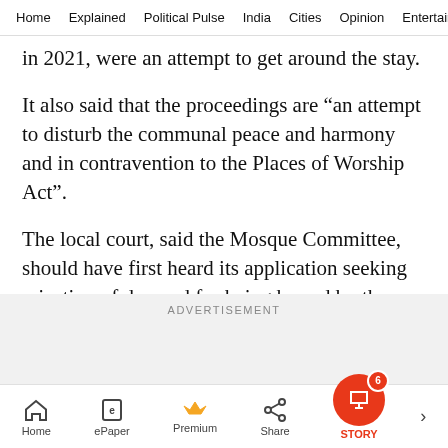Home  Explained  Political Pulse  India  Cities  Opinion  Entertainment
in 2021, were an attempt to get around the stay.
It also said that the proceedings are “an attempt to disturb the communal peace and harmony and in contravention to the Places of Worship Act”.
The local court, said the Mosque Committee, should have first heard its application seeking rejection of demand for being barred by the Act, before going ahead.
ADVERTISEMENT
Home  ePaper  Premium  Share  STORY